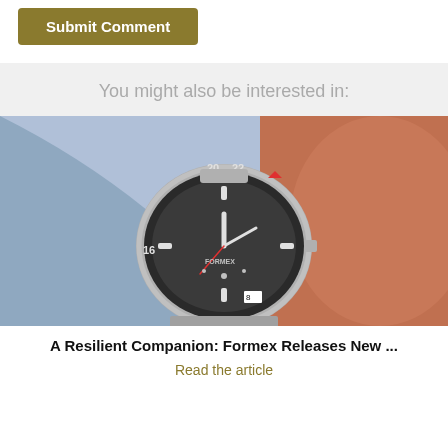Submit Comment
You might also be interested in:
[Figure (photo): A Formex watch with dark grey dial and mesh bracelet on a wrist wearing a blue dress shirt cuff]
A Resilient Companion: Formex Releases New ...
Read the article